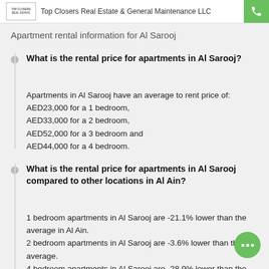Top Closers Real Estate & General Maintenance LLC
Apartment rental information for Al Sarooj
What is the rental price for apartments in Al Sarooj?
Apartments in Al Sarooj have an average to rent price of: AED23,000 for a 1 bedroom, AED33,000 for a 2 bedroom, AED52,000 for a 3 bedroom and AED44,000 for a 4 bedroom.
What is the rental price for apartments in Al Sarooj compared to other locations in Al Ain?
1 bedroom apartments in Al Sarooj are -21.1% lower than the average in Al Ain.
2 bedroom apartments in Al Sarooj are -3.6% lower than the average.
4 bedroom apartments in Al Sarooj are -28.9% lower than the